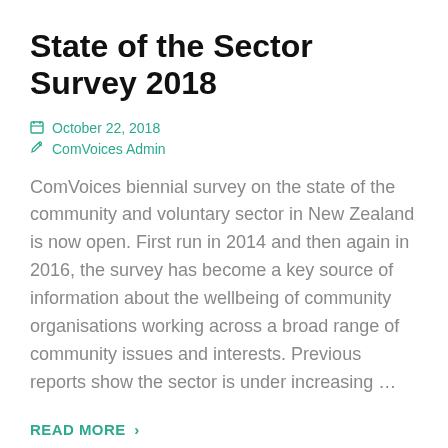State of the Sector Survey 2018
October 22, 2018
ComVoices Admin
ComVoices biennial survey on the state of the community and voluntary sector in New Zealand is now open. First run in 2014 and then again in 2016, the survey has become a key source of information about the wellbeing of community organisations working across a broad range of community issues and interests. Previous reports show the sector is under increasing …
READ MORE >